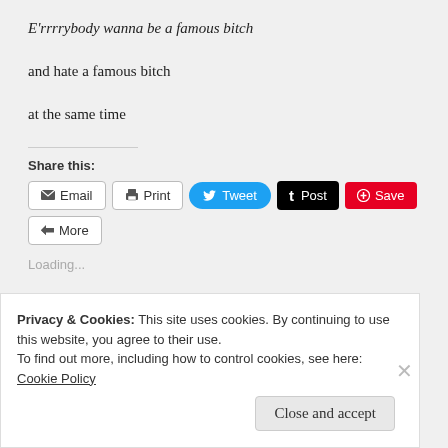E'rrrrybody wanna be a famous bitch
and hate a famous bitch
at the same time
Share this:
[Figure (screenshot): Social share buttons: Email, Print, Tweet, Post, Save, More]
Loading...
Privacy & Cookies: This site uses cookies. By continuing to use this website, you agree to their use.
To find out more, including how to control cookies, see here: Cookie Policy